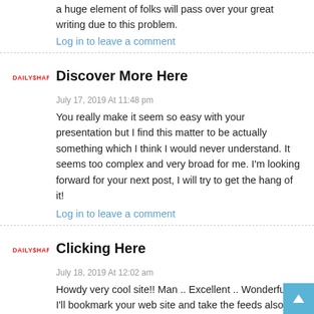a huge element of folks will pass over your great writing due to this problem.
Log in to leave a comment
Discover More Here
July 17, 2019 At 11:48 pm
You really make it seem so easy with your presentation but I find this matter to be actually something which I think I would never understand. It seems too complex and very broad for me. I'm looking forward for your next post, I will try to get the hang of it!
Log in to leave a comment
Clicking Here
July 18, 2019 At 12:02 am
Howdy very cool site!! Man .. Excellent .. Wonderful .. I'll bookmark your web site and take the feeds also¡KI am glad to search out numerous useful info here within the